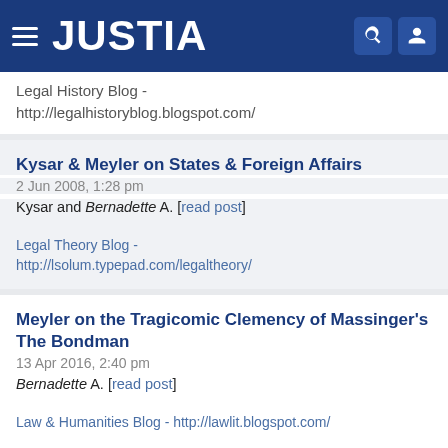JUSTIA
Legal History Blog - http://legalhistoryblog.blogspot.com/
Kysar & Meyler on States & Foreign Affairs
2 Jun 2008, 1:28 pm
Kysar and Bernadette A. [read post]
Legal Theory Blog - http://lsolum.typepad.com/legaltheory/
Meyler on the Tragicomic Clemency of Massinger's The Bondman
13 Apr 2016, 2:40 pm
Bernadette A. [read post]
Law & Humanities Blog - http://lawlit.blogspot.com/